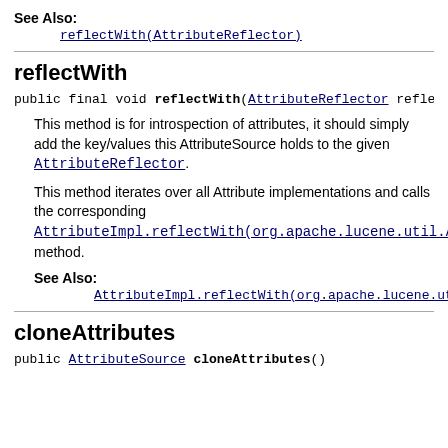See Also: reflectWith(AttributeReflector)
reflectWith
public final void reflectWith(AttributeReflector reflecto
This method is for introspection of attributes, it should simply add the key/values this AttributeSource holds to the given AttributeReflector.
This method iterates over all Attribute implementations and calls the corresponding AttributeImpl.reflectWith(org.apache.lucene.util.At method.
See Also: AttributeImpl.reflectWith(org.apache.lucene.ut
cloneAttributes
public AttributeSource cloneAttributes()